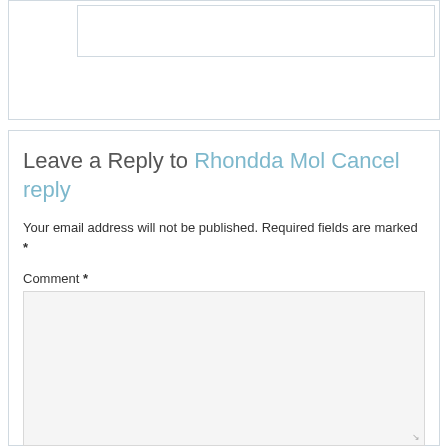[Figure (screenshot): Top portion of a web page comment section showing a partial box at the top]
Leave a Reply to Rhondda Mol Cancel reply
Your email address will not be published. Required fields are marked *
Comment *
[Figure (screenshot): Comment textarea input box, empty with light gray background]